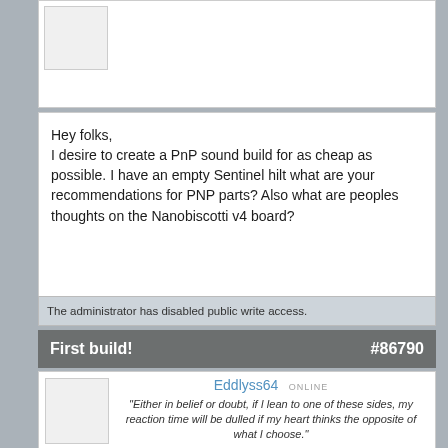[Figure (other): Avatar placeholder image for previous post (partially visible at top)]
Hey folks,
I desire to create a PnP sound build for as cheap as possible. I have an empty Sentinel hilt what are your recommendations for PNP parts? Also what are peoples thoughts on the Nanobiscotti v4 board?
The administrator has disabled public write access.
First build!                                    #86790
Eddlyss64
"Either in belief or doubt, if I lean to one of these sides, my reaction time will be dulled if my heart thinks the opposite of what I choose."
Posts: 953
Well, I can't help on the first part, but I can say that the